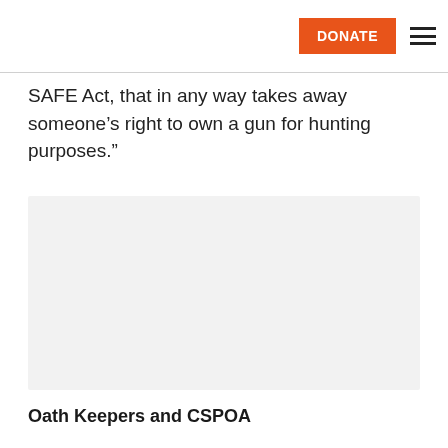DONATE
SAFE Act, that in any way takes away someone’s right to own a gun for hunting purposes.”
[Figure (other): Light gray placeholder image block]
Oath Keepers and CSPOA